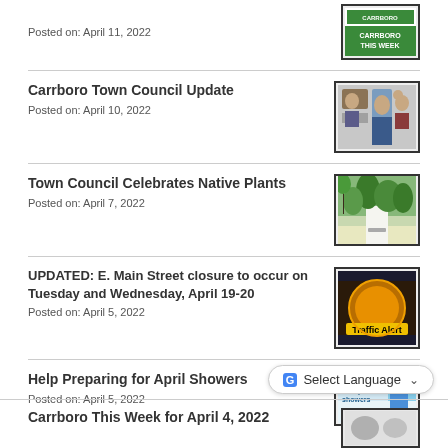Posted on: April 11, 2022
[Figure (illustration): Carrboro This Week green logo thumbnail]
Carrboro Town Council Update
Posted on: April 10, 2022
[Figure (photo): Group photo of Carrboro Town Council members]
Town Council Celebrates Native Plants
Posted on: April 7, 2022
[Figure (photo): Outdoor photo of native plants with a sign]
UPDATED: E. Main Street closure to occur on Tuesday and Wednesday, April 19-20
Posted on: April 5, 2022
[Figure (photo): Traffic Alert sign photo]
Help Preparing for April Showers
Posted on: April 5, 2022
[Figure (photo): Get ready for April showers promotional image]
Carrboro This Week for April 4, 2022
[Figure (illustration): Carrboro This Week thumbnail]